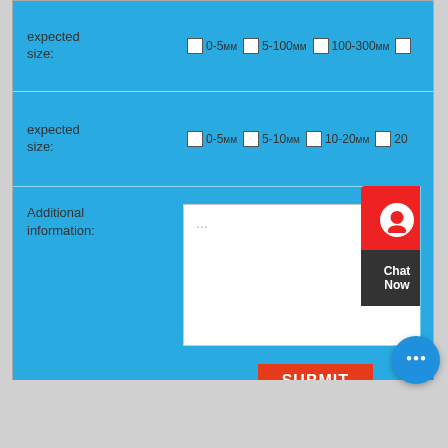expected size: 0-5mm  5-100mm  100-300mm
expected size: 0-5mm  5-10mm  10-20mm  20-
Additional information:
SUBMIT